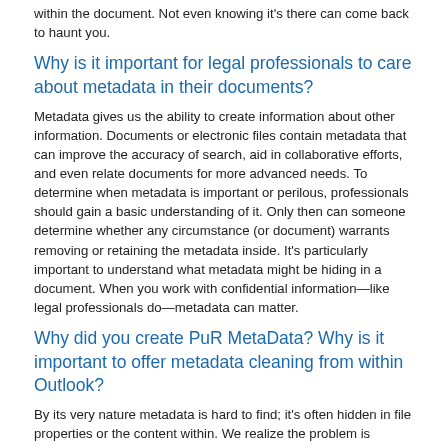within the document. Not even knowing it's there can come back to haunt you.
Why is it important for legal professionals to care about metadata in their documents?
Metadata gives us the ability to create information about other information. Documents or electronic files contain metadata that can improve the accuracy of search, aid in collaborative efforts, and even relate documents for more advanced needs. To determine when metadata is important or perilous, professionals should gain a basic understanding of it. Only then can someone determine whether any circumstance (or document) warrants removing or retaining the metadata inside. It's particularly important to understand what metadata might be hiding in a document. When you work with confidential information—like legal professionals do—metadata can matter.
Why did you create PuR MetaData? Why is it important to offer metadata cleaning from within Outlook?
By its very nature metadata is hard to find; it's often hidden in file properties or the content within. We realize the problem is twofold; the average user does not understand metadata well, and even if they did, most do not know where to look. We created PuR MetaData so professionals could first identify the metadata within their files, and then decide how to manage and control that data.